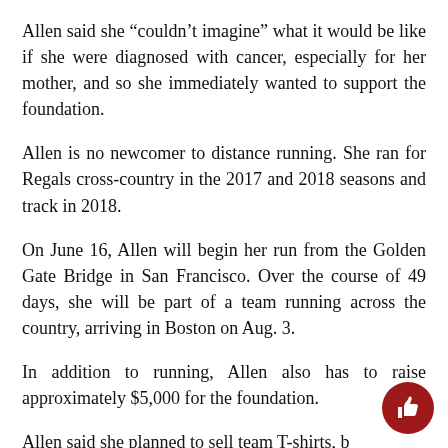Allen said she “couldn’t imagine” what it would be like if she were diagnosed with cancer, especially for her mother, and so she immediately wanted to support the foundation.
Allen is no newcomer to distance running. She ran for Regals cross-country in the 2017 and 2018 seasons and track in 2018.
On June 16, Allen will begin her run from the Golden Gate Bridge in San Francisco. Over the course of 49 days, she will be part of a team running across the country, arriving in Boston on Aug. 3.
In addition to running, Allen also has to raise approximately $5,000 for the foundation.
Allen said she planned to sell team T-shirts, b...